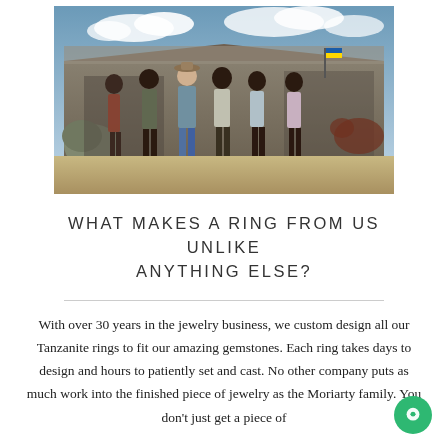[Figure (photo): Group photo of six men (five African men and one older white man wearing a hat) standing together outdoors in front of a rustic building/shed. Cloudy sky in background, dirt ground in foreground.]
WHAT MAKES A RING FROM US UNLIKE ANYTHING ELSE?
With over 30 years in the jewelry business, we custom design all our Tanzanite rings to fit our amazing gemstones. Each ring takes days to design and hours to patiently set and cast. No other company puts as much work into the finished piece of jewelry as the Moriarty family. You don't just get a piece of